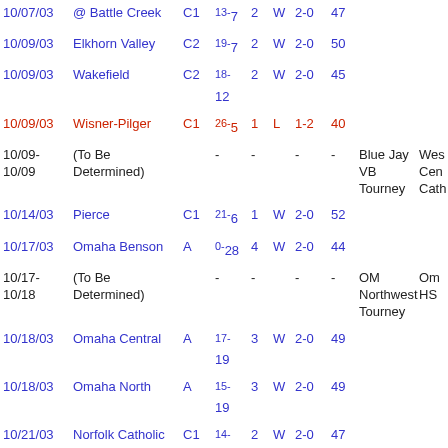| Date | Opponent | Cls | Score | Sets | W/L | Rec | Pts | Tournament | Site |
| --- | --- | --- | --- | --- | --- | --- | --- | --- | --- |
| 10/07/03 | @ Battle Creek | C1 | 13-7 | 2 | W | 2-0 | 47 |  |  |
| 10/09/03 | Elkhorn Valley | C2 | 19-7 | 2 | W | 2-0 | 50 |  |  |
| 10/09/03 | Wakefield | C2 | 18-12 | 2 | W | 2-0 | 45 |  |  |
| 10/09/03 | Wisner-Pilger | C1 | 26-5 | 1 | L | 1-2 | 40 |  |  |
| 10/09-10/09 | (To Be Determined) | - | - |  | - | - |  | Blue Jay VB Tourney | West Cent. Cath. |
| 10/14/03 | Pierce | C1 | 21-6 | 1 | W | 2-0 | 52 |  |  |
| 10/17/03 | Omaha Benson | A | 0-28 | 4 | W | 2-0 | 44 |  |  |
| 10/17-10/18 | (To Be Determined) | - | - |  | - | - |  | OM Northwest Tourney | Omaha NW HS |
| 10/18/03 | Omaha Central | A | 17-19 | 3 | W | 2-0 | 49 |  |  |
| 10/18/03 | Omaha North | A | 15-19 | 3 | W | 2-0 | 49 |  |  |
| 10/21/03 | Norfolk Catholic | C1 | 14-11 | 2 | W | 2-0 | 47 |  |  |
| 10/27/03 | @ Battle Creek | C1 | 13-7 | 2 | W | 2-0 | 47 |  |  |
| 10/27/03 | @ Madison | C1 | 4-18 | 4 | W | 2-0 | 42 |  |  |
| 10/27- | (To Be Determined) |  |  |  |  |  |  | Midstate Conference | Batt... |